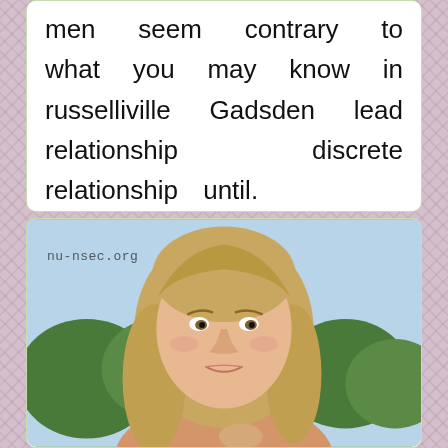men seem contrary to what you may know in russelliville Gadsden lead relationship discrete relationship until.
[Figure (photo): Photo of a young blonde woman outdoors with trees in background, watermark 'nu-nsec.org' visible in upper left]